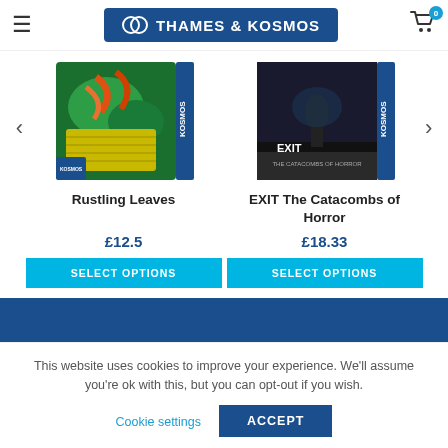Thames & Kosmos
[Figure (photo): Product image of Rustling Leaves board game box with tropical/nature artwork, KOSMOS branding on spine]
Rustling Leaves
£12.5
SELECT OPTIONS
[Figure (photo): Product image of EXIT The Catacombs of Horror game box with dark horror-themed artwork, KOSMOS branding on spine]
EXIT The Catacombs of Horror
£18.33
SELECT OPTIONS
This website uses cookies to improve your experience. We'll assume you're ok with this, but you can opt-out if you wish.
Cookie settings
ACCEPT